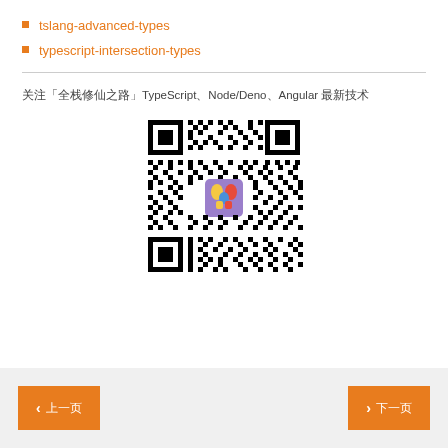tslang-advanced-types
typescript-intersection-types
关注「全栈修仙之路」TypeScript、Node/Deno、Angular 最新技术
[Figure (other): QR code with a colorful WeChat-style logo in the center]
上一页  下一页